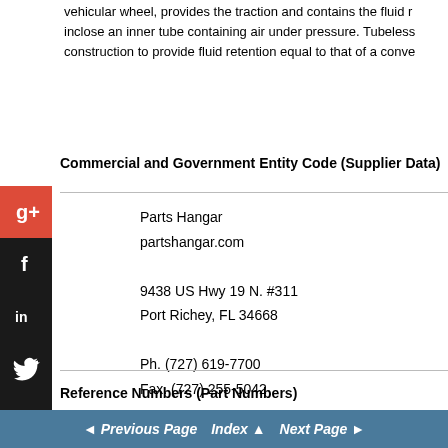vehicular wheel, provides the traction and contains the fluid inclose an inner tube containing air under pressure. Tubeless construction to provide fluid retention equal to that of a conve
Commercial and Government Entity Code (Supplier Data)
Parts Hangar
partshangar.com
9438 US Hwy 19 N. #311
Port Richey, FL 34668
Ph. (727) 619-7700
Fax. (727) 255-5042
Click here to submit an RFQ (Request For Quote)
Reference Numbers (Part Numbers)
◄ Previous Page  Index ▲  Next Page ►